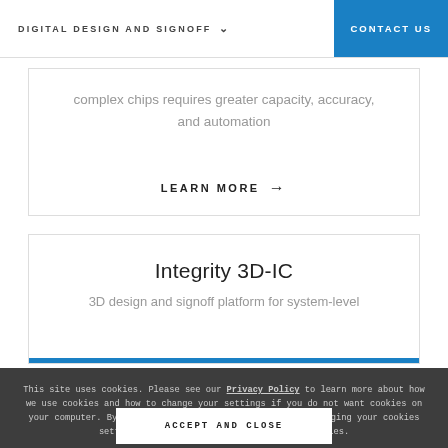DIGITAL DESIGN AND SIGNOFF  ∨   CONTACT US
complex chips requires greater capacity, accuracy, and automation
LEARN MORE →
Integrity 3D-IC
3D design and signoff platform for system-level
This site uses cookies. Please see our Privacy Policy to learn more about how we use cookies and how to change your settings if you do not want cookies on your computer. By continuing to use this site without changing your cookies settings, you consent to the use of our cookies.
ACCEPT AND CLOSE